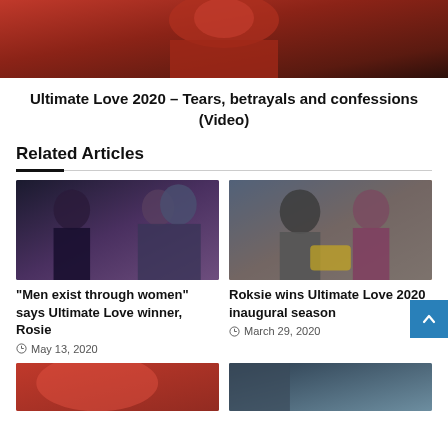[Figure (photo): Cropped photo of a man wearing a red shirt, dark beard, shown from chin/shoulder level]
Ultimate Love 2020 – Tears, betrayals and confessions (Video)
Related Articles
[Figure (photo): Two photos side by side: a woman in black top on the left, and a couple dressed in formal/shiny attire on the right]
“Men exist through women” says Ultimate Love winner, Rosie
May 13, 2020
[Figure (photo): A man and woman sitting on a sofa in what appears to be a TV show set, with a blue background and logos visible]
Roksie wins Ultimate Love 2020 inaugural season
March 29, 2020
[Figure (photo): Partial image of people on a red background, cut off at bottom]
[Figure (photo): Partial image of people on a dark background with logos, cut off at bottom]